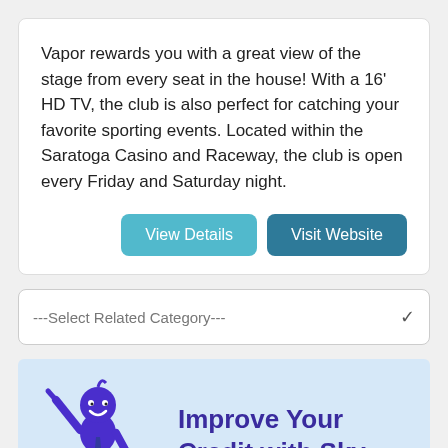Vapor rewards you with a great view of the stage from every seat in the house!  With a 16' HD TV, the club is also perfect for catching your favorite sporting events.  Located within the Saratoga Casino and Raceway, the club is open every Friday and Saturday night.
View Details | Visit Website
---Select Related Category---
[Figure (illustration): Advertisement banner with light blue background showing a purple cartoon stick figure character waving, next to the text 'Improve Your Credit with Sky Blue']